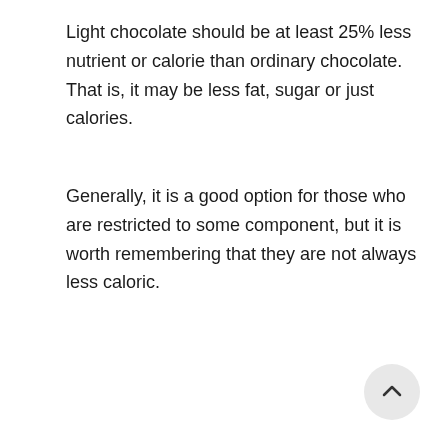Light chocolate should be at least 25% less nutrient or calorie than ordinary chocolate. That is, it may be less fat, sugar or just calories.
Generally, it is a good option for those who are restricted to some component, but it is worth remembering that they are not always less caloric.
[Figure (other): Back to top button: circular grey button with an upward-pointing chevron/caret arrow]